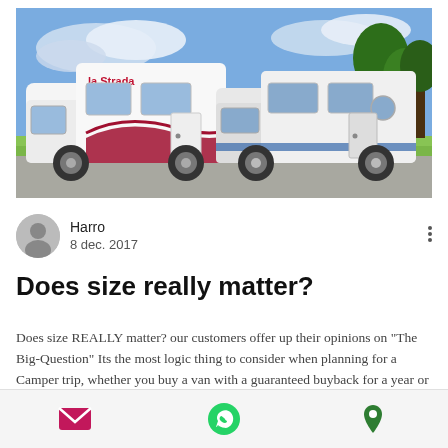[Figure (photo): Two campervans/motorhomes parked side by side outdoors. Left one is white with red 'la Strada' branding and red wave graphic. Right one is white/grey with blue stripe. Trees and blue sky in background.]
Harro
8 dec. 2017
Does size really matter?
Does size REALLY matter? our customers offer up their opinions on "The Big-Question" Its the most logic thing to consider when planning for a Camper trip, whether you buy a van with a guaranteed buyback for a year or hire it for weeks the big question is Does the size of the campervan or motor-home matter? Are you